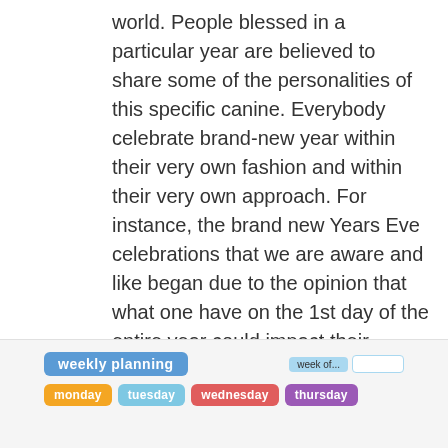world. People blessed in a particular year are believed to share some of the personalities of this specific canine. Everybody celebrate brand-new year within their very own fashion and within their very own approach. For instance, the brand new Years Eve celebrations that we are aware and like began due to the opinion that what one have on the 1st day of the entire year could impact their chance. In virtually all countries, it really is considered as start of a fresh calendar yr. Every New 12 months brings significant amounts of hope and happiness for everybody.
[Figure (other): Weekly planning template header showing 'weekly planning' label in blue, 'week of...' field on the right, and day labels for monday (orange), tuesday (light blue), wednesday (red), thursday (purple) as colored pill buttons.]